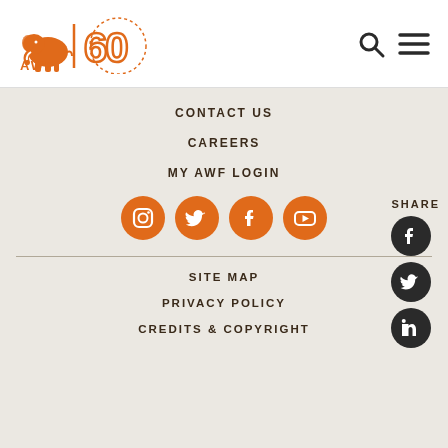[Figure (logo): AWF 60th anniversary logo with elephant icon in orange]
[Figure (illustration): Search icon and hamburger menu icon in dark gray]
CONTACT US
CAREERS
MY AWF LOGIN
[Figure (illustration): Social media icons: Instagram, Twitter, Facebook, YouTube - orange circles]
SHARE
[Figure (illustration): Share icons: Facebook, Twitter, LinkedIn - dark circles on right sidebar]
SITE MAP
PRIVACY POLICY
CREDITS & COPYRIGHT